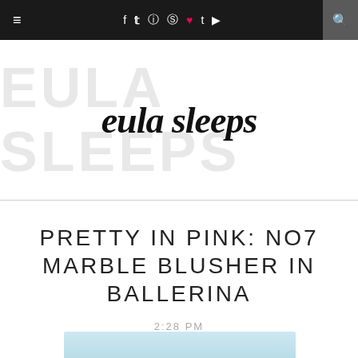≡  f  t  ☷  ⊕  ♥  t  ▶  🔍
[Figure (logo): Blog logo: large light grey background text 'EULA SLEEPS' with dark script overlay reading 'eula sleeps']
PRETTY IN PINK: NO7 MARBLE BLUSHER IN BALLERINA
2:28 PM
[Figure (photo): Partial photo of No7 Marble Blusher product, cropped at bottom of page]